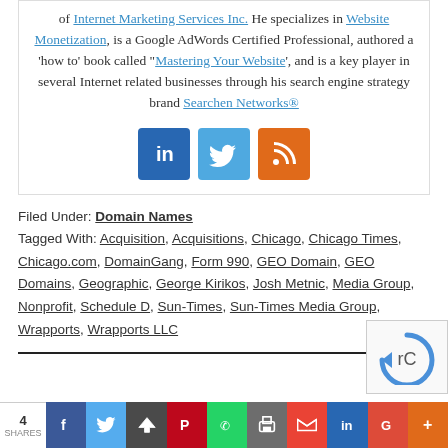of Internet Marketing Services Inc. He specializes in Website Monetization, is a Google AdWords Certified Professional, authored a ‘how to’ book called “Mastering Your Website’, and is a key player in several Internet related businesses through his search engine strategy brand Searchen Networks®
[Figure (illustration): Three social media icon buttons: LinkedIn (blue), Twitter (blue), RSS feed (orange)]
Filed Under: Domain Names
Tagged With: Acquisition, Acquisitions, Chicago, Chicago Times, Chicago.com, DomainGang, Form 990, GEO Domain, GEO Domains, Geographic, George Kirikos, Josh Metnic, Media Group, Nonprofit, Schedule D, Sun-Times, Sun-Times Media Group, Wrapports, Wrapports LLC
[Figure (illustration): Share bar at bottom with count 4 SHARES and buttons: Facebook, Twitter, Save, Pinterest, WhatsApp, Print, Gmail, LinkedIn, Google, More]
[Figure (illustration): reCAPTCHA widget in bottom right corner]